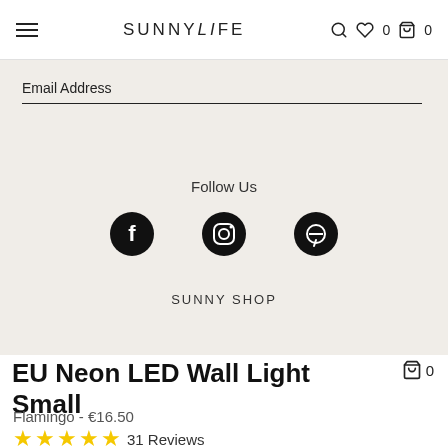SUNNYLiFE  ♡ 0  🛍 0
Email Address
Follow Us
[Figure (infographic): Three social media icons: Facebook, Instagram, Pinterest — circular black icons]
SUNNY SHOP
EU Neon LED Wall Light Small
Flamingo - €16.50
★★★★★ 31 Reviews